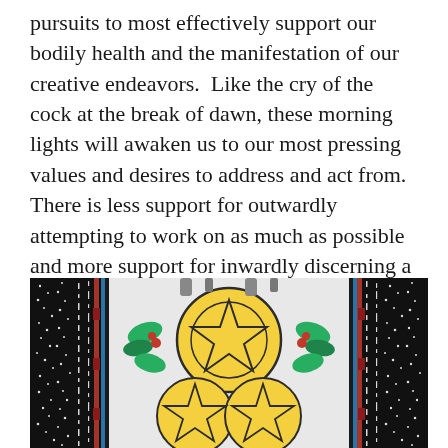pursuits to most effectively support our bodily health and the manifestation of our creative endeavors.  Like the cry of the cock at the break of dawn, these morning lights will awaken us to our most pressing values and desires to address and act from.  There is less support for outwardly attempting to work on as much as possible and more support for inwardly discerning a few precious aspects of our life to devote our full attention to.
[Figure (illustration): A tarot card illustration showing pentacle symbols (five-pointed stars inside circles) arranged on a yellow background with green foliage. The card is bordered by an ornate black and white pattern on the sides with blue and red vertical stripe accents. The image is cropped showing the upper and middle portion of the card.]